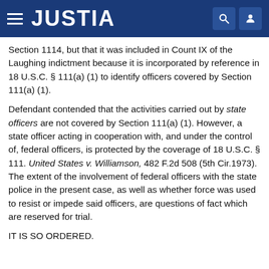JUSTIA
Section 1114, but that it was included in Count IX of the Laughing indictment because it is incorporated by reference in 18 U.S.C. § 111(a) (1) to identify officers covered by Section 111(a) (1).
Defendant contended that the activities carried out by state officers are not covered by Section 111(a) (1). However, a state officer acting in cooperation with, and under the control of, federal officers, is protected by the coverage of 18 U.S.C. § 111. United States v. Williamson, 482 F.2d 508 (5th Cir.1973). The extent of the involvement of federal officers with the state police in the present case, as well as whether force was used to resist or impede said officers, are questions of fact which are reserved for trial.
IT IS SO ORDERED.